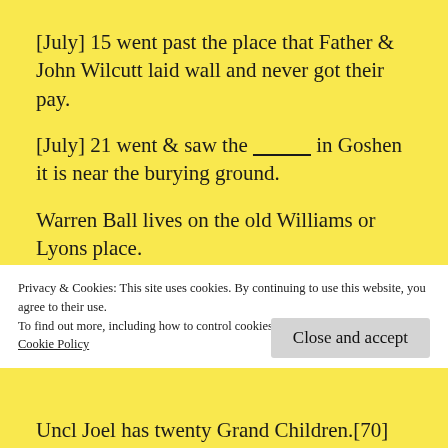[July] 15 went past the place that Father & John Wilcutt laid wall and never got their pay.
[July] 21 went & saw the ________ in Goshen it is near the burying ground.
Warren Ball lives on the old Williams or Lyons place.
Aunt Rhoda was up to the old Adam Beals place
Privacy & Cookies: This site uses cookies. By continuing to use this website, you agree to their use.
To find out more, including how to control cookies, see here:
Cookie Policy
Close and accept
Uncl Joel has twenty Grand Children.[70]